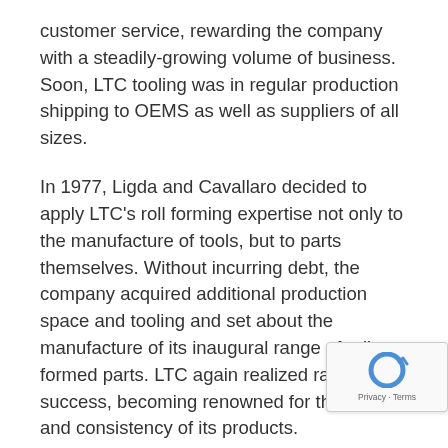customer service, rewarding the company with a steadily-growing volume of business. Soon, LTC tooling was in regular production shipping to OEMS as well as suppliers of all sizes.
In 1977, Ligda and Cavallaro decided to apply LTC's roll forming expertise not only to the manufacture of tools, but to parts themselves. Without incurring debt, the company acquired additional production space and tooling and set about the manufacture of its inaugural range of roll formed parts. LTC again realized rapid success, becoming renowned for the quality and consistency of its products.
LTC expanded into a newer, larger facility in 1988 located in Clinton Township that currently serves as its headquarters, sales office, and engineering center as well as a primary production facility. In response to expanding demand, the company a...